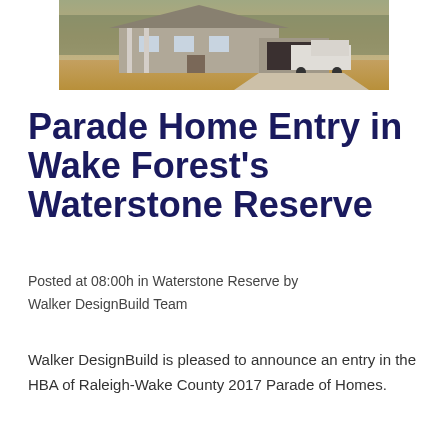[Figure (photo): Photograph of a house under construction with dirt yard and a truck in the driveway, surrounded by trees]
Parade Home Entry in Wake Forest's Waterstone Reserve
Posted at 08:00h in Waterstone Reserve by Walker DesignBuild Team
Walker DesignBuild is pleased to announce an entry in the HBA of Raleigh-Wake County 2017 Parade of Homes.